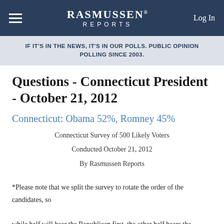Rasmussen Reports — Log In
IF IT'S IN THE NEWS, IT'S IN OUR POLLS. PUBLIC OPINION POLLING SINCE 2003.
Questions - Connecticut President - October 21, 2012
Connecticut: Obama 52%, Romney 45%
Connecticut Survey of 500 Likely Voters
Conducted October 21, 2012
By Rasmussen Reports
*Please note that we split the survey to rotate the order of the candidates, so while half will hear the Republican first, the other half hears the Democrat